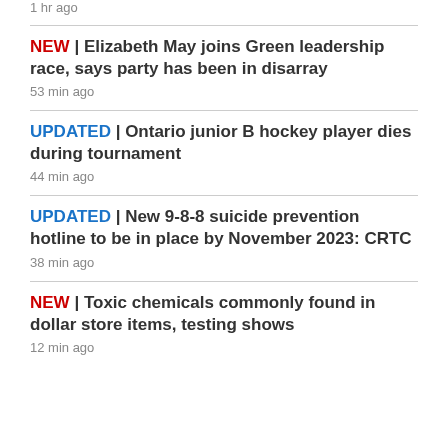1 hr ago
NEW | Elizabeth May joins Green leadership race, says party has been in disarray
53 min ago
UPDATED | Ontario junior B hockey player dies during tournament
44 min ago
UPDATED | New 9-8-8 suicide prevention hotline to be in place by November 2023: CRTC
38 min ago
NEW | Toxic chemicals commonly found in dollar store items, testing shows
12 min ago